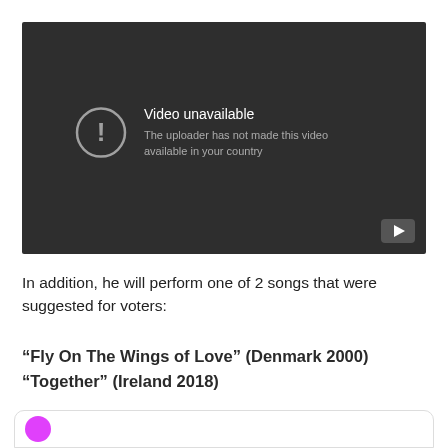[Figure (screenshot): YouTube video embed showing 'Video unavailable' error message: 'The uploader has not made this video available in your country'. Dark grey background with circular exclamation icon and YouTube play button logo in bottom right corner.]
In addition, he will perform one of 2 songs that were suggested for voters:
“Fly On The Wings of Love” (Denmark 2000)
“Together” (Ireland 2018)
[Figure (other): Partial view of a social media or comment card at the bottom of the page, showing a pink/purple circular avatar on the left.]